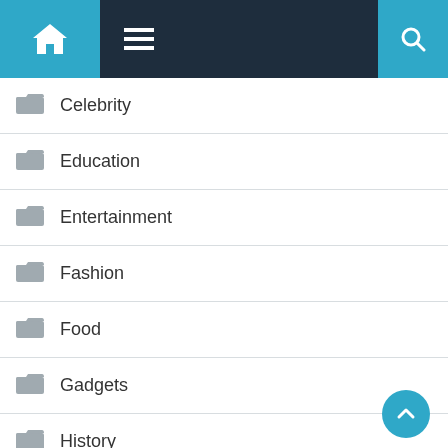Navigation menu with home, hamburger menu, and search icons
Celebrity
Education
Entertainment
Fashion
Food
Gadgets
History
Lifestyle
Love and Relationships
Movie